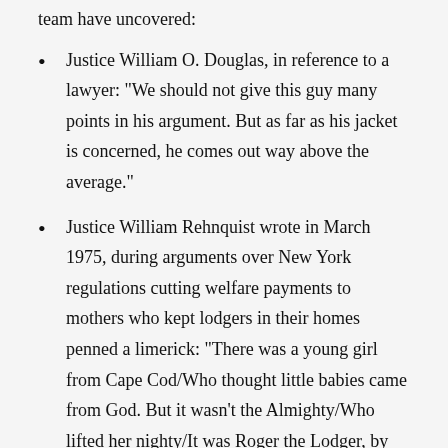team have uncovered:
Justice William O. Douglas, in reference to a lawyer: “We should not give this guy many points in his argument. But as far as his jacket is concerned, he comes out way above the average.”
Justice William Rehnquist wrote in March 1975, during arguments over New York regulations cutting welfare payments to mothers who kept lodgers in their homes penned a limerick: “There was a young girl from Cape Cod/Who thought little babies came from God. But it wasn’t the Almighty/Who lifted her nighty/It was Roger the Lodger, by God!” Rehnquist was the lone dissent when the court later ruled against the state.
Justice Ruth Bader Ginsburg, speaking at the